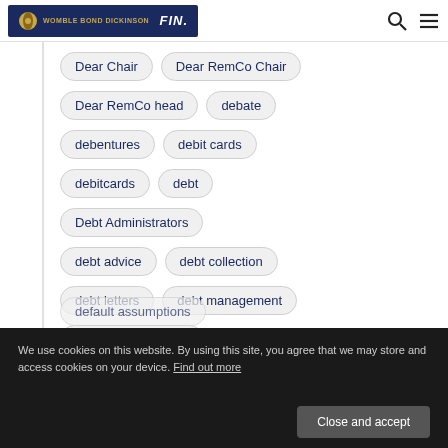WOMBLE BOND DICKINSON | FIN.
Dear Chair
Dear RemCo Chair
Dear RemCo head
debate
debentures
debit cards
debitcards
debt
Debt Administrators
debt advice
debt collection
debt letters
debt management
debt packager firms
Debt Purchasers
default assumptions
We use cookies on this website. By using this site, you agree that we may store and access cookies on your device. Find out more
Close and accept